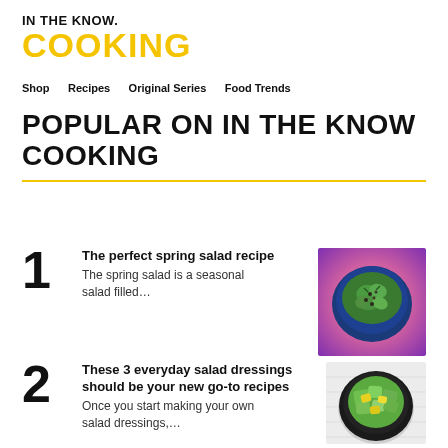IN THE KNOW.
COOKING
Shop  Recipes  Original Series  Food Trends
POPULAR ON IN THE KNOW COOKING
1 The perfect spring salad recipe
The spring salad is a seasonal salad filled...
[Figure (photo): Top-down view of a green spring salad in a dark blue bowl on a pink/purple gradient background]
2 These 3 everyday salad dressings should be your new go-to recipes
Once you start making your own salad dressings,...
[Figure (photo): Top-down view of a chopped green salad in a black bowl on a white wooden surface]